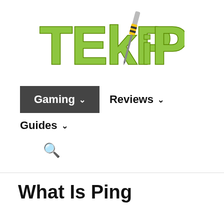[Figure (logo): TEKPiP logo with green bubble letters and a screwdriver through the letters, on white background]
Gaming ▾   Reviews ▾   Guides ▾
What Is Ping